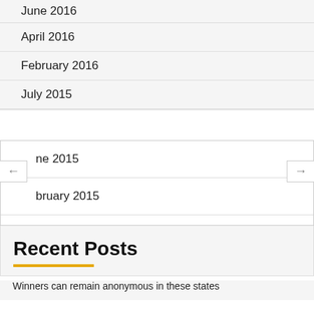June 2016
April 2016
February 2016
July 2015
June 2015
February 2015
Recent Posts
Winners can remain anonymous in these states